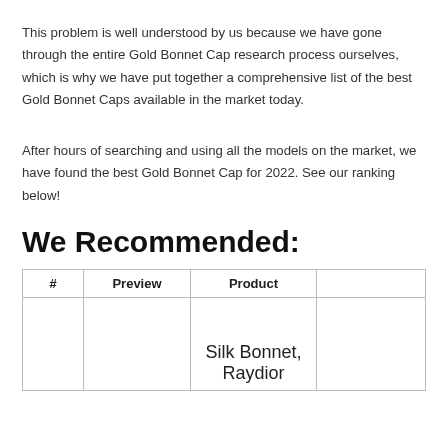This problem is well understood by us because we have gone through the entire Gold Bonnet Cap research process ourselves, which is why we have put together a comprehensive list of the best Gold Bonnet Caps available in the market today.
After hours of searching and using all the models on the market, we have found the best Gold Bonnet Cap for 2022. See our ranking below!
We Recommended:
| # | Preview | Product |  |
| --- | --- | --- | --- |
|  |  | Silk Bonnet, Raydior |  |